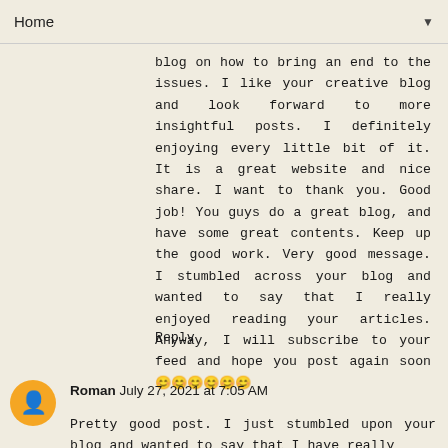Home
blog on how to bring an end to the issues. I like your creative blog and look forward to more insightful posts. I definitely enjoying every little bit of it. It is a great website and nice share. I want to thank you. Good job! You guys do a great blog, and have some great contents. Keep up the good work. Very good message. I stumbled across your blog and wanted to say that I really enjoyed reading your articles. Anyway, I will subscribe to your feed and hope you post again soon 🙂🙂🙂🙂🙂🙂
Reply
Roman July 27, 2021 at 7:05 AM
Pretty good post. I just stumbled upon your blog and wanted to say that I have really